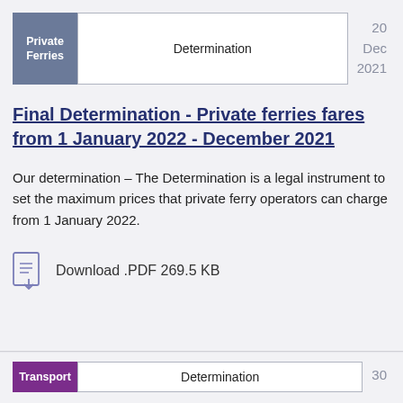| Category | Type | Date |
| --- | --- | --- |
| Private Ferries | Determination | 20 Dec 2021 |
Final Determination - Private ferries fares from 1 January 2022 - December 2021
Our determination – The Determination is a legal instrument to set the maximum prices that private ferry operators can charge from 1 January 2022.
Download .PDF 269.5 KB
| Category | Type | Date |
| --- | --- | --- |
| Transport | Determination | 30 |